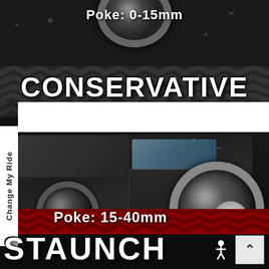Poke: 0-15mm
CONSERVATIVE
Change My Ride
[Figure (photo): Side view of a dark 4WD truck/SUV with chrome wheels, showing the wheel offset/poke, on a dark muddy/adventurous background with red and black tire tread marks]
Poke: 15-40mm
STAUNCH